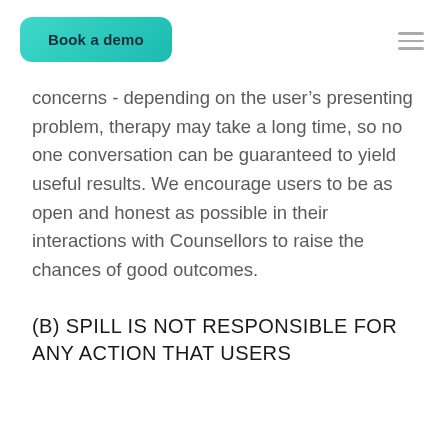Book a demo
concerns - depending on the user’s presenting problem, therapy may take a long time, so no one conversation can be guaranteed to yield useful results. We encourage users to be as open and honest as possible in their interactions with Counsellors to raise the chances of good outcomes.
(b) SPILL IS NOT RESPONSIBLE FOR ANY ACTION THAT USERS